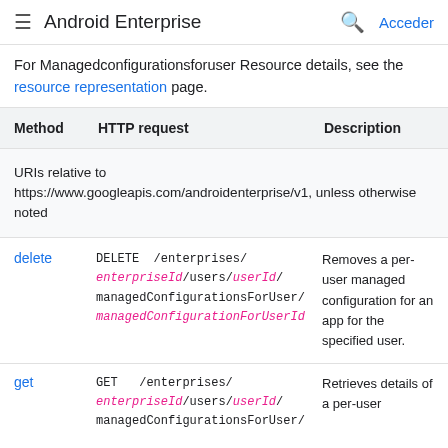Android Enterprise   Acceder
For Managedconfigurationsforuser Resource details, see the resource representation page.
| Method | HTTP request | Description |
| --- | --- | --- |
| URIs relative to https://www.googleapis.com/androidenterprise/v1, unless otherwise noted |  |  |
| delete | DELETE /enterprises/enterpriseId/users/userId/managedConfigurationsForUser/managedConfigurationForUserId | Removes a per-user managed configuration for an app for the specified user. |
| get | GET /enterprises/enterpriseId/users/userId/managedConfigurationsForUser/ | Retrieves details of a per-user |